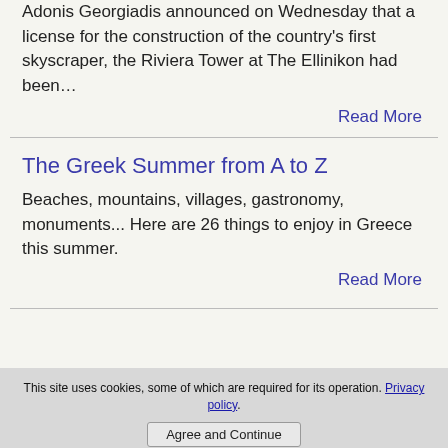Adonis Georgiadis announced on Wednesday that a license for the construction of the country's first skyscraper, the Riviera Tower at The Ellinikon had been…
Read More
The Greek Summer from A to Z
Beaches, mountains, villages, gastronomy, monuments... Here are 26 things to enjoy in Greece this summer.
Read More
This site uses cookies, some of which are required for its operation. Privacy policy. Agree and Continue